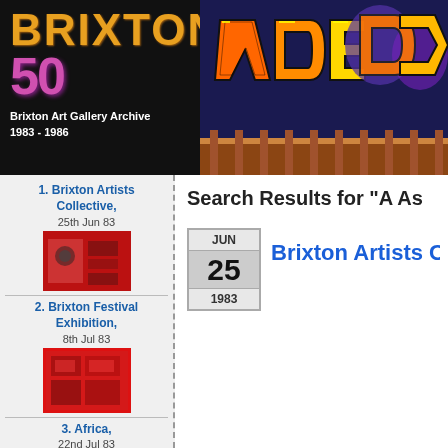[Figure (illustration): Brixton 50 logo with gold/orange 'BRIXTON' text and pink/purple '50' numeral on black background, alongside colorful graffiti mural in orange, gold, purple and brown tones]
Brixton Art Gallery Archive
1983 - 1986
1. Brixton Artists Collective, 25th Jun 83
[Figure (photo): Small red/dark thumbnail image of Brixton Artists Collective exhibition]
2. Brixton Festival Exhibition, 8th Jul 83
[Figure (photo): Small red thumbnail image of Brixton Festival Exhibition]
3. Africa, 22nd Jul 83
[Figure (photo): Small thumbnail image of Africa exhibition]
Search Results for "A As
JUN 25 1983
Brixton Artists Colle